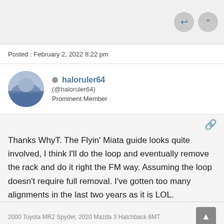Posted : February 2, 2022 8:22 pm
haloruler64 (@haloruler64) Prominent Member
Thanks WhyT. The Flyin' Miata guide looks quite involved, I think I'll do the loop and eventually remove the rack and do it right the FM way. Assuming the loop doesn't require full removal. I've gotten too many alignments in the last two years as it is LOL.
2000 Toyota MR2 Spyder, 2020 Mazda 3 Hatchback 6MT